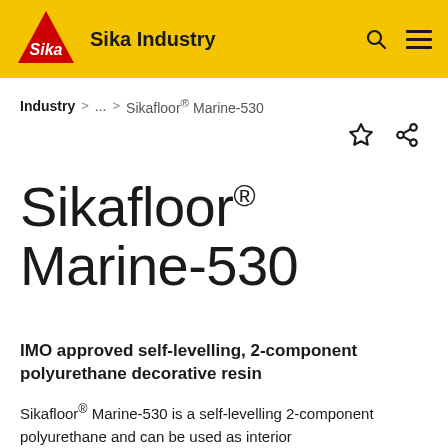Sika Industry
Industry > ... > Sikafloor® Marine-530
Sikafloor® Marine-530
IMO approved self-levelling, 2-component polyurethane decorative resin
Sikafloor® Marine-530 is a self-levelling 2-component polyurethane and can be used as interior